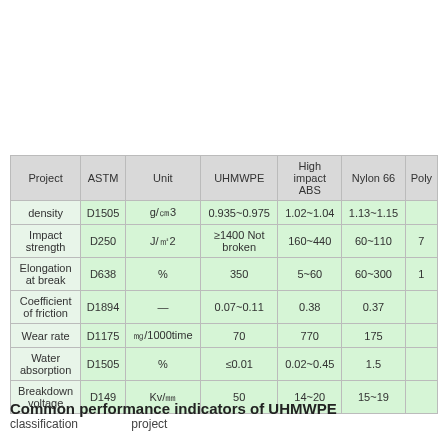| Project | ASTM | Unit | UHMWPE | High impact ABS | Nylon 66 | Poly |
| --- | --- | --- | --- | --- | --- | --- |
| density | D1505 | g/㎝3 | 0.935~0.975 | 1.02~1.04 | 1.13~1.15 |  |
| Impact strength | D250 | J/㎡2 | ≥1400 Not broken | 160~440 | 60~110 | 7 |
| Elongation at break | D638 | % | 350 | 5~60 | 60~300 | 1 |
| Coefficient of friction | D1894 | — | 0.07~0.11 | 0.38 | 0.37 |  |
| Wear rate | D1175 | ㎎/1000time | 70 | 770 | 175 |  |
| Water absorption | D1505 | % | ≤0.01 | 0.02~0.45 | 1.5 |  |
| Breakdown voltage | D149 | Kv/㎜ | 50 | 14~20 | 15~19 |  |
Common performance indicators of UHMWPE classification project